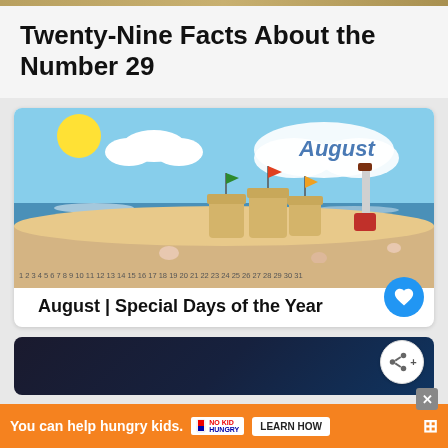Twenty-Nine Facts About the Number 29
[Figure (illustration): Beach scene illustration showing sandcastles with colorful flags (green, red, orange), a red shovel, sun, clouds, and ocean in the background. At the bottom, numbers 1 through 31 are listed. The word 'August' appears in blue text on a cloud.]
August | Special Days of the Year
[Figure (screenshot): Dark background card partially visible at bottom]
You can help hungry kids. NO KID HUNGRY LEARN HOW